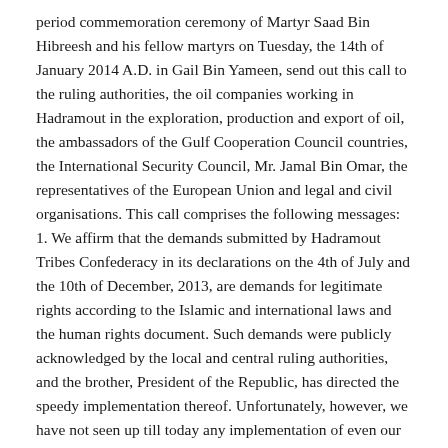period commemoration ceremony of Martyr Saad Bin Hibreesh and his fellow martyrs on Tuesday, the 14th of January 2014 A.D. in Gail Bin Yameen, send out this call to the ruling authorities, the oil companies working in Hadramout in the exploration, production and export of oil, the ambassadors of the Gulf Cooperation Council countries, the International Security Council, Mr. Jamal Bin Omar, the representatives of the European Union and legal and civil organisations. This call comprises the following messages:
1. We affirm that the demands submitted by Hadramout Tribes Confederacy in its declarations on the 4th of July and the 10th of December, 2013, are demands for legitimate rights according to the Islamic and international laws and the human rights document. Such demands were publicly acknowledged by the local and central ruling authorities, and the brother, President of the Republic, has directed the speedy implementation thereof. Unfortunately, however, we have not seen up till today any implementation of even our simplest demands. Instead, what we have actually seen was continuation of the amassing of troops on Gail Bin Yameen Plateau and in the cities of Hadramout with the army and central security forces continuing their aggression on the desert tribes and the people of the cities throughout the whole of